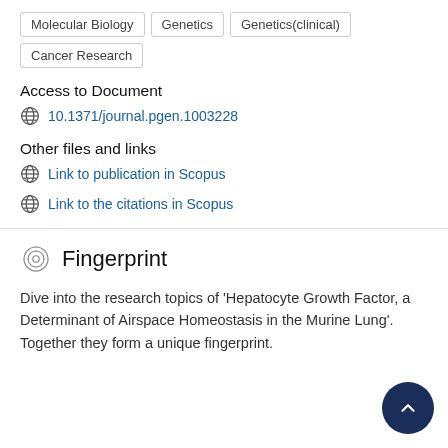Molecular Biology | Genetics | Genetics(clinical)
Cancer Research
Access to Document
10.1371/journal.pgen.1003228
Other files and links
Link to publication in Scopus
Link to the citations in Scopus
Fingerprint
Dive into the research topics of 'Hepatocyte Growth Factor, a Determinant of Airspace Homeostasis in the Murine Lung'. Together they form a unique fingerprint.